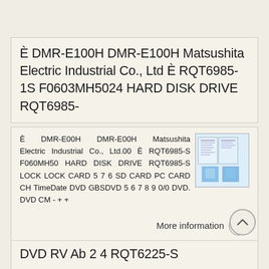È DMR-E100H DMR-E100H Matsushita Electric Industrial Co., Ltd È RQT6985-1S F0603MH5024 HARD DISK DRIVE RQT6985-
È DMR-E00H DMR-E00H Matsushita Electric Industrial Co., Ltd.00 È RQT6985-S F060MH50 HARD DISK DRIVE RQT6985-S LOCK LOCK CARD 5 7 6 SD CARD PC CARD CH TimeDate DVD GBSDVD 5 6 7 8 9 0/0 DVD. DVD CM - + +
More information →
DVD RV Ab 2 4 RQT6225-S